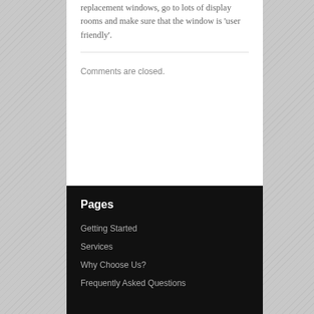replacement windows, go to lots of display rooms and make sure that the window is ‘user friendly’.
Comments are closed.
Pages
Getting Started
Services
Why Choose Us?
Frequently Asked Questions